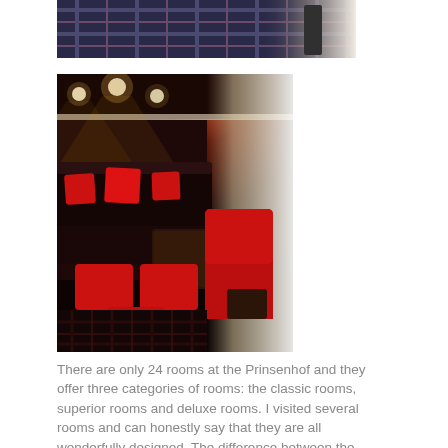[Figure (photo): Top portion of a hotel room photo showing a plaid/tartan carpet and curtains]
[Figure (photo): Interior of hotel bar/lounge with dark walls, recessed ceiling lights, a dark sofa with red cushions, red footstools, a dark coffee table, and a red armchair, with a bright window/doorway in the background]
There are only 24 rooms at the Prinsenhof and they offer three categories of rooms: the classic rooms, superior rooms and deluxe rooms. I visited several rooms and can honestly say that they are all wonderfully designed. The difference between the categories are the extra services they provide, such as a delicious fruit plate or bowl in the superior and deluxe rooms and a